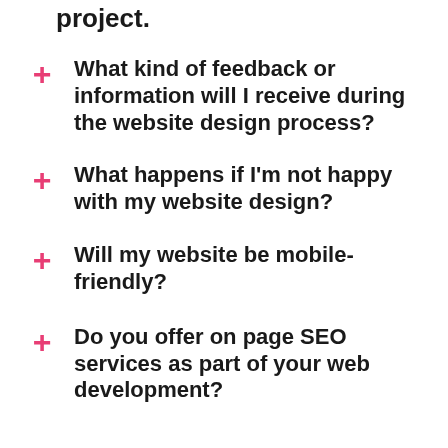project.
What kind of feedback or information will I receive during the website design process?
What happens if I'm not happy with my website design?
Will my website be mobile-friendly?
Do you offer on page SEO services as part of your web development?